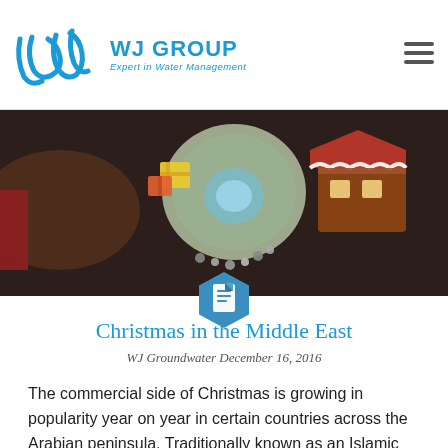WJ GROUP — Expert in Water Management
[Figure (photo): Overhead view of a Christmas tree display with ornaments, gift boxes, and a miniature gingerbread house on a dark floor, viewed from above.]
Christmas in the Middle East
WJ Groundwater December 16, 2016
The commercial side of Christmas is growing in popularity year on year in certain countries across the Arabian peninsula. Traditionally known as an Islamic region, countries like UAE and Qatar are also hosting a myriad of